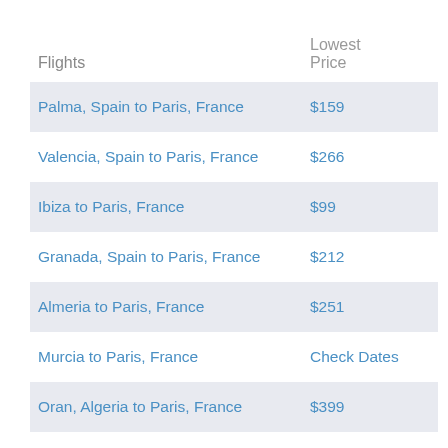| Flights | Lowest Price |
| --- | --- |
| Palma, Spain to Paris, France | $159 |
| Valencia, Spain to Paris, France | $266 |
| Ibiza to Paris, France | $99 |
| Granada, Spain to Paris, France | $212 |
| Almeria to Paris, France | $251 |
| Murcia to Paris, France | Check Dates |
| Oran, Algeria to Paris, France | $399 |